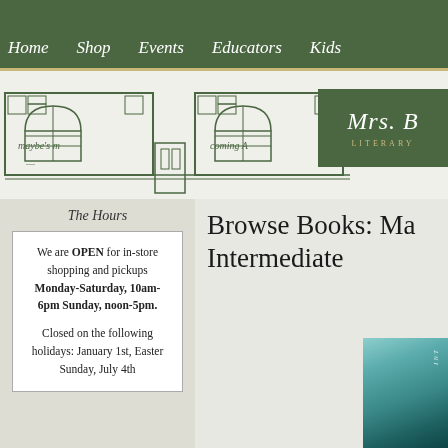Home | Shop | Events | Educators | Kids
[Figure (illustration): Bookstore storefront line drawing with arched windows and book displays, with Mrs. [name] Literary [store] logo in green block top right]
The Hours
We are OPEN for in-store shopping and pickups Monday-Saturday, 10am-6pm Sunday, noon-5pm.

Closed on the following holidays: January 1st, Easter Sunday, July 4th
Browse Books: Ma... Intermediate